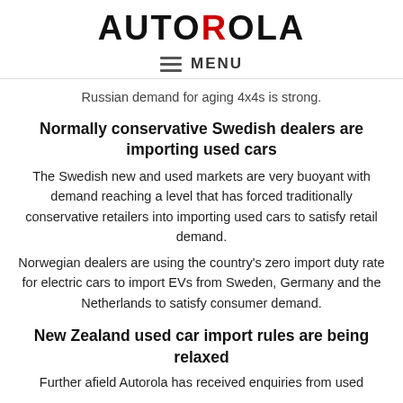AUTOROLA
MENU
Russian demand for aging 4x4s is strong.
Normally conservative Swedish dealers are importing used cars
The Swedish new and used markets are very buoyant with demand reaching a level that has forced traditionally conservative retailers into importing used cars to satisfy retail demand.
Norwegian dealers are using the country’s zero import duty rate for electric cars to import EVs from Sweden, Germany and the Netherlands to satisfy consumer demand.
New Zealand used car import rules are being relaxed
Further afield Autorola has received enquiries from used